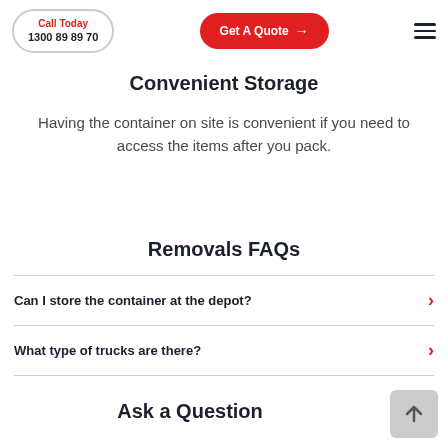Call Today 1300 89 89 70 | Get A Quote
Convenient Storage
Having the container on site is convenient if you need to access the items after you pack.
Removals FAQs
Can I store the container at the depot?
What type of trucks are there?
Ask a Question